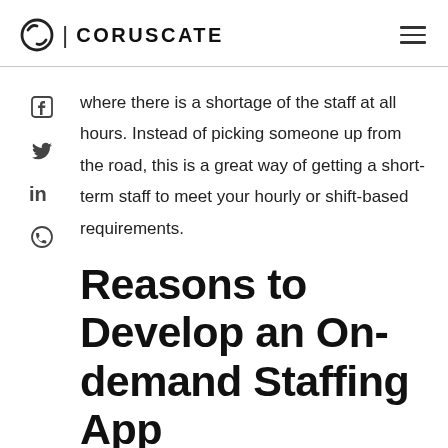CORUSCATE
where there is a shortage of the staff at all hours. Instead of picking someone up from the road, this is a great way of getting a short-term staff to meet your hourly or shift-based requirements.
Reasons to Develop an On-demand Staffing App